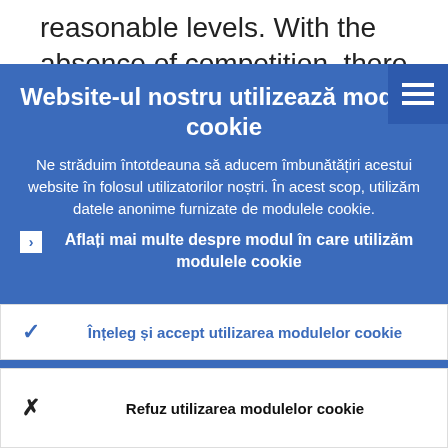reasonable levels. With the absence of competition, there is also no pressure
Website-ul nostru utilizează module cookie
Ne străduim întotdeauna să aducem îmbunătățiri acestui website în folosul utilizatorilor noștri. În acest scop, utilizăm datele anonime furnizate de modulele cookie.
Aflați mai multe despre modul în care utilizăm modulele cookie
Înțeleg și accept utilizarea modulelor cookie
Refuz utilizarea modulelor cookie